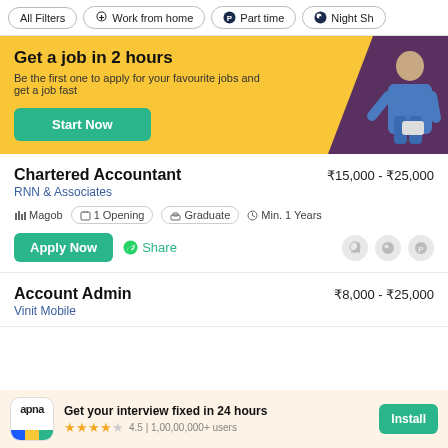All Filters | Work from home | Part time | Night Sh
[Figure (infographic): Yellow banner: Get a job in 2 hours. Be the first one to apply for your favourite jobs and get a job fast. Start Now button. Man figure on right side with purple background.]
Chartered Accountant
RNN & Associates
₹15,000 - ₹25,000
Magob | 1 Opening | Graduate | Min. 1 Years
Apply Now | Share
Account Admin
Vinit Mobile
₹8,000 - ₹25,000
[Figure (infographic): Bottom app install banner: apna logo, Get your interview fixed in 24 hours, 4.5 stars, 1,00,00,000+ users, Install button]